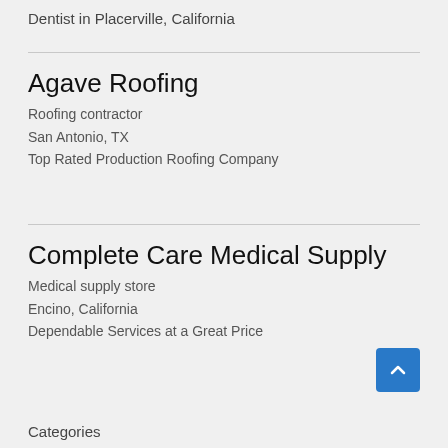Dentist in Placerville, California
Agave Roofing
Roofing contractor
San Antonio, TX
Top Rated Production Roofing Company
Complete Care Medical Supply
Medical supply store
Encino, California
Dependable Services at a Great Price
Categories